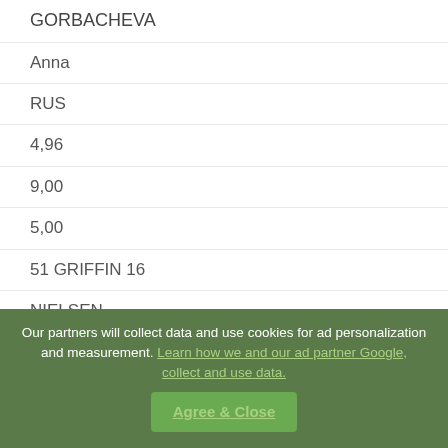GORBACHEVA
Anna
RUS
4,96
9,00
5,00
51 GRIFFIN 16
NIELSEN
Christina
DEN
Our partners will collect data and use cookies for ad personalization and measurement. Learn how we and our ad partner Google, collect and use data.